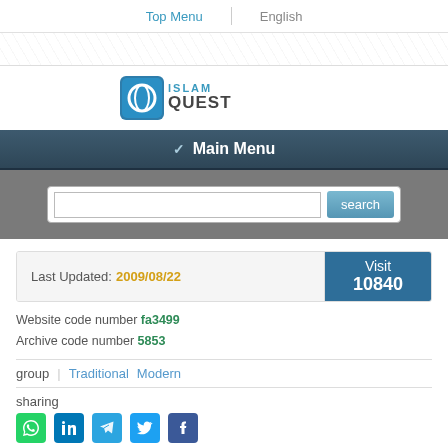Top Menu | English
[Figure (logo): IslamQuest logo with teal square icon and ISLAMQUEST text]
Main Menu
search
Last Updated: 2009/08/22 | Visit 10840
Website code number fa3499
Archive code number 5853
group | Traditional Modern
sharing
Summary of question
Considering the many verses in the